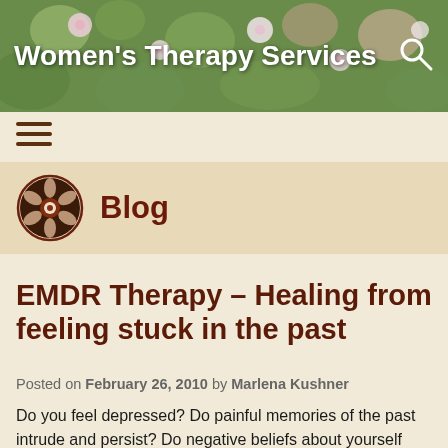Women's Therapy Services
[Figure (logo): Women's Therapy Services circular logo with flower motif in dark brown]
Blog
EMDR Therapy – Healing from feeling stuck in the past
Posted on February 26, 2010 by Marlena Kushner
Do you feel depressed? Do painful memories of the past intrude and persist? Do negative beliefs about yourself echo inside your head? Is it hard to move on to